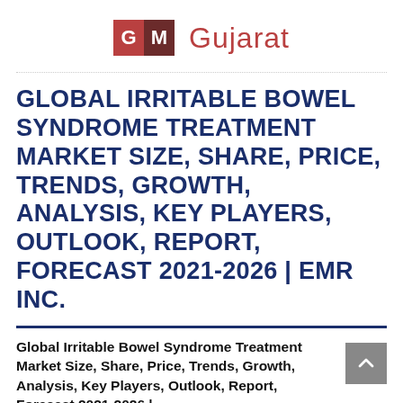[Figure (logo): GM Gujarat logo — two colored square blocks with letters G and M, followed by the word Gujarat in red/terracotta color]
GLOBAL IRRITABLE BOWEL SYNDROME TREATMENT MARKET SIZE, SHARE, PRICE, TRENDS, GROWTH, ANALYSIS, KEY PLAYERS, OUTLOOK, REPORT, FORECAST 2021-2026 | EMR INC.
Global Irritable Bowel Syndrome Treatment Market Size, Share, Price, Trends, Growth, Analysis, Key Players, Outlook, Report, Forecast 2021-2026 |